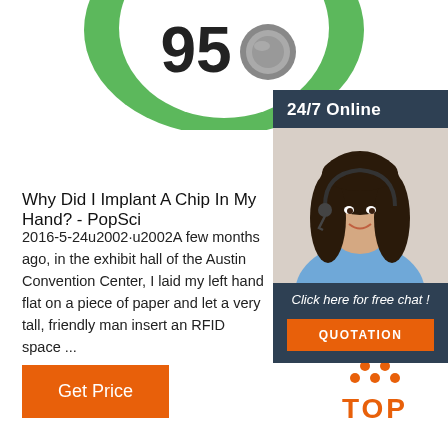[Figure (photo): Product image showing a circular green and white device with number 95 and a metal button cell, partially cropped at top]
[Figure (illustration): Sidebar advertisement with 24/7 Online header, photo of a woman with headset smiling, 'Click here for free chat!' text, and orange QUOTATION button]
Why Did I Implant A Chip In My Hand? - PopSci
2016-5-24u2002·u2002A few months ago, in the exhibit hall of the Austin Convention Center, I laid my left hand flat on a piece of paper and let a very tall, friendly man insert an RFID space ...
Get Price
[Figure (logo): TOP logo with orange dots arranged in triangle pattern above the word TOP in orange]